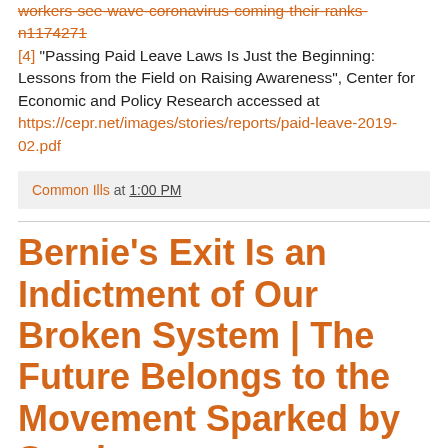workers-see-wave-coronavirus-coming-their-ranks-n1174271 [4] "Passing Paid Leave Laws Is Just the Beginning: Lessons from the Field on Raising Awareness", Center for Economic and Policy Research accessed at https://cepr.net/images/stories/reports/paid-leave-2019-02.pdf
Common Ills at 1:00 PM
Bernie's Exit Is an Indictment of Our Broken System | The Future Belongs to the Movement Sparked by Sanders